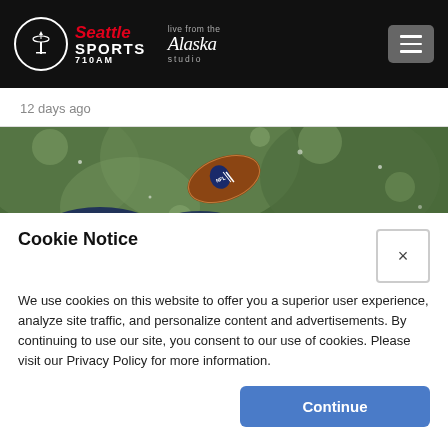Seattle Sports 710AM — Live from the Alaska Studio
12 days ago
[Figure (photo): A football in motion with NFL logo, blue gloved hands catching or tipping it, blurred green bokeh background]
Cookie Notice
We use cookies on this website to offer you a superior user experience, analyze site traffic, and personalize content and advertisements. By continuing to use our site, you consent to our use of cookies. Please visit our Privacy Policy for more information.
Continue